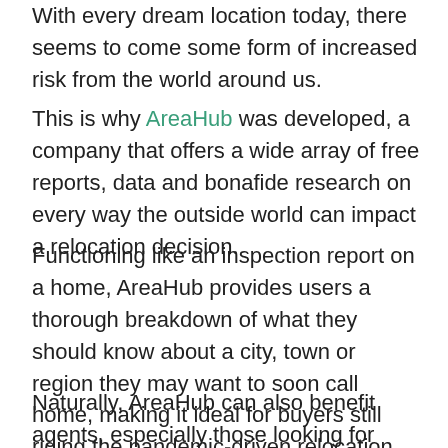With every dream location today, there seems to come some form of increased risk from the world around us.
This is why AreaHub was developed, a company that offers a wide array of free reports, data and bonafide research on every way the outside world can impact a relocation decision.
Functioning like an inspection report on a home, AreaHub provides users a thorough breakdown of what they should know about a city, town or region they may want to soon call home, making it ideal for buyers still riding the pandemic-driven relocation trend.
Naturally, AreaHub can also benefit agents, especially those looking for ways to provide more value to their clients, who are often heavily armed with market